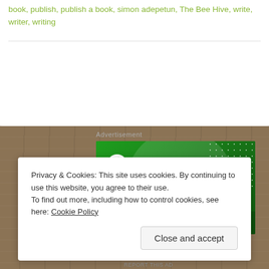book, publish, publish a book, simon adepetun, The Bee Hive, write, writer, writing
[Figure (logo): Jetpack advertisement banner with green background, Jetpack logo (lightning bolt in circle) and wordmark, decorative large circle and dot pattern, partial text at bottom]
Advertisement
Privacy & Cookies: This site uses cookies. By continuing to use this website, you agree to their use.
To find out more, including how to control cookies, see here: Cookie Policy
Close and accept
REPORT THIS AD